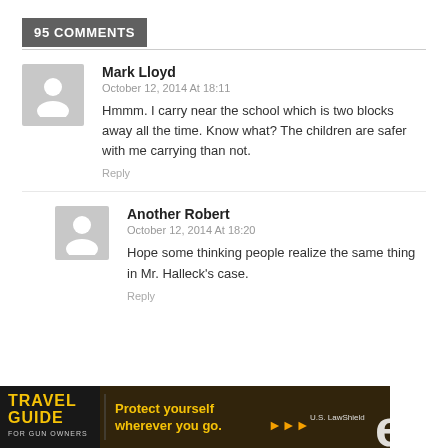95 COMMENTS
Mark Lloyd
October 12, 2014 At 18:11
Hmmm. I carry near the school which is two blocks away all the time. Know what? The children are safer with me carrying than not.
Reply
Another Robert
October 12, 2014 At 18:20
Hope some thinking people realize the same thing in Mr. Halleck's case.
Reply
[Figure (infographic): Advertisement banner: Travel Guide for Gun Owners / U.S. LawShield - Protect yourself wherever you go.]